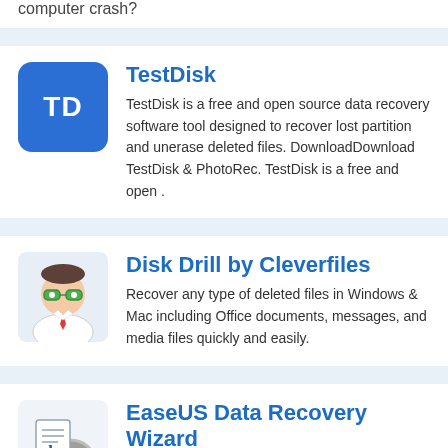computer crash?
[Figure (illustration): Blue square icon with white letters TD for TestDisk app]
TestDisk
TestDisk is a free and open source data recovery software tool designed to recover lost partition and unerase deleted files. DownloadDownload TestDisk & PhotoRec. TestDisk is a free and open .
[Figure (illustration): Cartoon character with green glasses and white jacket for Disk Drill by Cleverfiles]
Disk Drill by Cleverfiles
Recover any type of deleted files in Windows & Mac including Office documents, messages, and media files quickly and easily.
[Figure (illustration): EaseUS Data Recovery Wizard app icon showing disk and document graphic]
EaseUS Data Recovery Wizard
Advanced data recovery software to do format